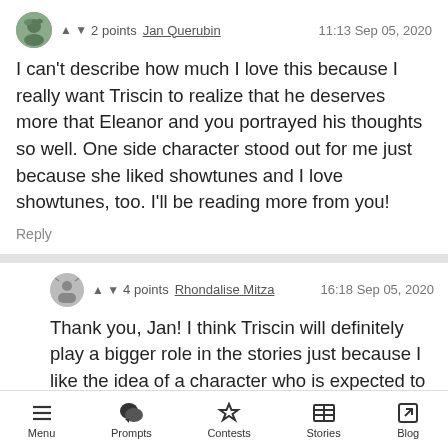2 points  Jan Querubin  11:13 Sep 05, 2020
I can't describe how much I love this because I really want Triscin to realize that he deserves more that Eleanor and you portrayed his thoughts so well. One side character stood out for me just because she liked showtunes and I love showtunes, too. I'll be reading more from you!
Reply
4 points  Rhondalise Mitza  16:18 Sep 05, 2020
Thank you, Jan! I think Triscin will definitely play a bigger role in the stories just because I like the idea of a character who is expected to be emotionally strong all the time- an athlete in this case- being
Menu  Prompts  Contests  Stories  Blog